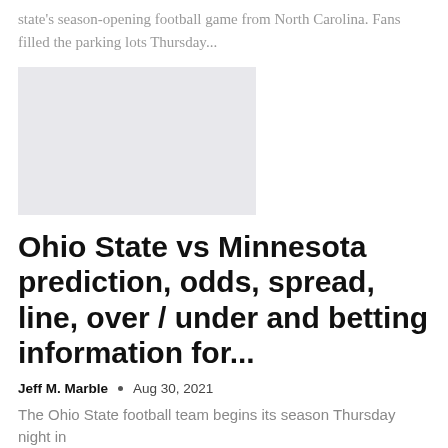state's season-opening football game from North Carolina. Fans filled the parking lots Thursday...
[Figure (photo): Gray placeholder image for an article thumbnail]
Ohio State vs Minnesota prediction, odds, spread, line, over / under and betting information for...
Jeff M. Marble  •  Aug 30, 2021
The Ohio State football team begins its season Thursday night in